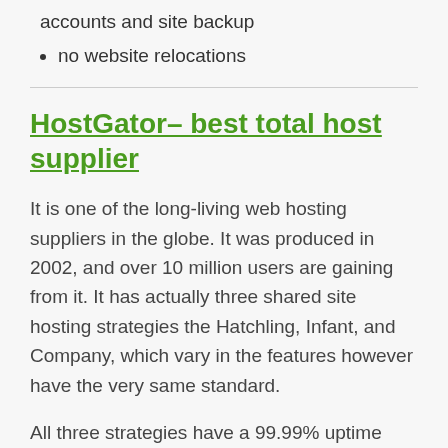accounts and site backup
no website relocations
HostGator– best total host supplier
It is one of the long-living web hosting suppliers in the globe. It was produced in 2002, and over 10 million users are gaining from it. It has actually three shared site hosting strategies the Hatchling, Infant, and Company, which vary in the features however have the very same standard.
All three strategies have a 99.99% uptime and unrestricted disk space. If an age